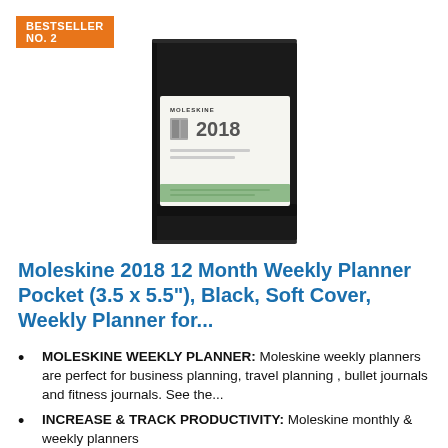BESTSELLER NO. 2
[Figure (photo): Moleskine 2018 weekly planner notebook with black soft cover and elastic band, with white label band showing 2018 and notebook details]
Moleskine 2018 12 Month Weekly Planner Pocket (3.5 x 5.5"), Black, Soft Cover, Weekly Planner for...
MOLESKINE WEEKLY PLANNER: Moleskine weekly planners are perfect for business planning, travel planning , bullet journals and fitness journals. See the...
INCREASE & TRACK PRODUCTIVITY: Moleskine monthly & weekly planners